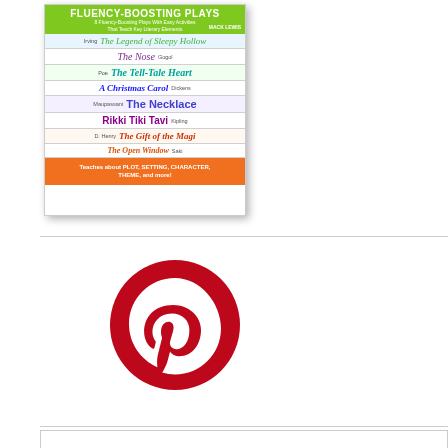[Figure (illustration): Book cover for a fluency-boosting plays collection featuring 8 classic stories including The Legend of Sleepy Hollow, The Nose, The Tell-Tale Heart, A Christmas Carol, The Necklace, Rikki Tiki Tavi, The Gift of the Magi, and The Open Window. Cover has green top, orange bottom banner.]
[Figure (logo): Pinterest logo - red circle with white stylized P letter]